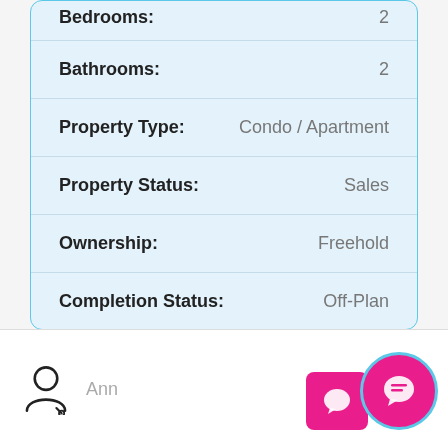| Field | Value |
| --- | --- |
| Bedrooms: | 2 |
| Bathrooms: | 2 |
| Property Type: | Condo / Apartment |
| Property Status: | Sales |
| Ownership: | Freehold |
| Completion Status: | Off-Plan |
Ann